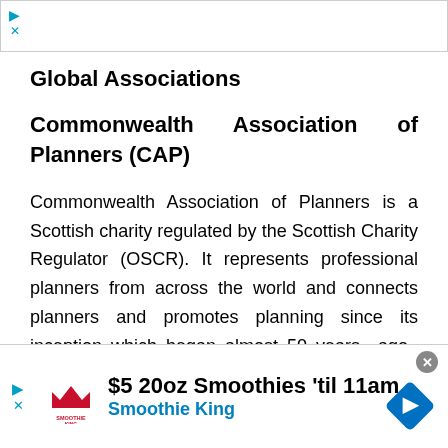[Figure (other): Top advertisement banner with navigation arrow icon and close X button]
Global Associations
Commonwealth Association of Planners (CAP)
Commonwealth Association of Planners is a Scottish charity regulated by the Scottish Charity Regulator (OSCR). It represents professional planners from across the world and connects planners and promotes planning since its inception which began almost 50 years ago. CAP is a volunteer-based
[Figure (other): Bottom advertisement banner for Smoothie King: $5 20oz Smoothies 'til 11am]